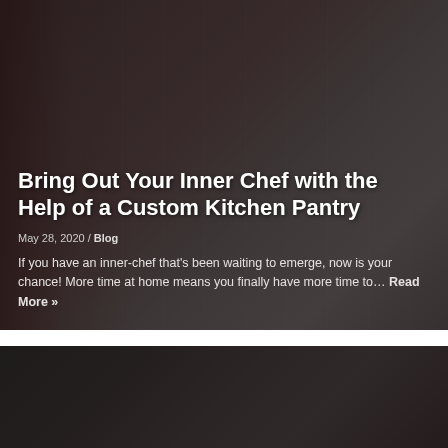[Figure (photo): Kitchen pantry interior with white shelving units filled with food products, canned goods, beverages including Pepsi, and wicker/wire storage baskets. Dark semi-transparent overlay covers the image.]
Bring Out Your Inner Chef with the Help of a Custom Kitchen Pantry
May 28, 2020 / Blog
If you have an inner-chef that’s been waiting to emerge, now is your chance! More time at home means you finally have more time to… Read More »
[Figure (photo): Partial view of a second blog post card image, showing a dark interior space, partially visible at the bottom of the page.]